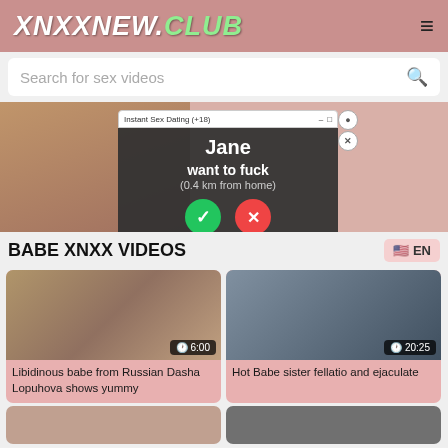XNXXNEW.CLUB
Search for sex videos
[Figure (screenshot): Ad popup: Instant Sex Dating (+18) with Jane want to fuck (0.4 km from home), yes/no buttons]
BABE XNXX VIDEOS
EN
[Figure (screenshot): Video thumbnail 1 with duration 6:00]
Libidinous babe from Russian Dasha Lopuhova shows yummy
[Figure (screenshot): Video thumbnail 2 with duration 20:25]
Hot Babe sister fellatio and ejaculate
[Figure (screenshot): Partial video thumbnails at bottom of page]